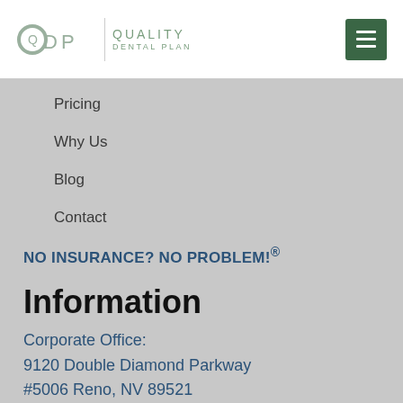[Figure (logo): QDP Quality Dental Plan logo with circular Q, D, P letters in grey-green and text 'QUALITY DENTAL PLAN' in green]
Pricing
Why Us
Blog
Contact
NO INSURANCE? NO PROBLEM!®
Information
Corporate Office:
9120 Double Diamond Parkway
#5006 Reno, NV 89521
Phone: